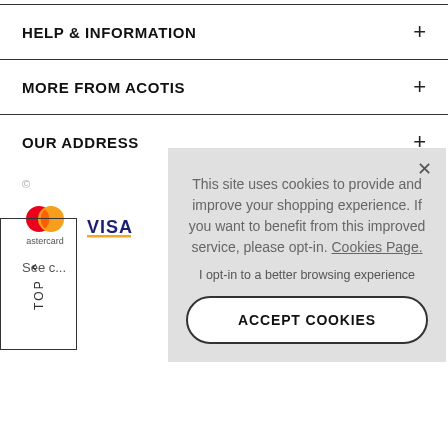HELP & INFORMATION
MORE FROM ACOTIS
OUR ADDRESS
© ...
[Figure (logo): Mastercard logo (red and orange overlapping circles) with 'astercard' text below]
[Figure (logo): Visa logo (blue text with yellow underline)]
See c...
Acotis Registered off...
Wolve...
Company Regis...
This site uses cookies to provide and improve your shopping experience. If you want to benefit from this improved service, please opt-in. Cookies Page. I opt-in to a better browsing experience ACCEPT COOKIES